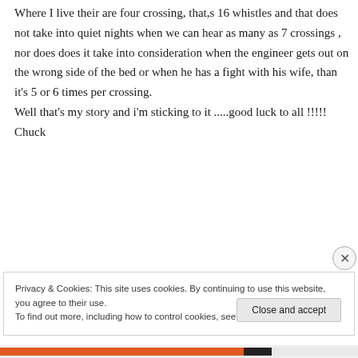Where I live their are four crossing, that,s 16 whistles and that does not take into quiet nights when we can hear as many as 7 crossings , nor does does it take into consideration when the engineer gets out on the wrong side of the bed or when he has a fight with his wife, than it's 5 or 6 times per crossing.
Well that's my story and i'm sticking to it .....good luck to all !!!!!
Chuck
Privacy & Cookies: This site uses cookies. By continuing to use this website, you agree to their use.
To find out more, including how to control cookies, see here: Cookie Policy